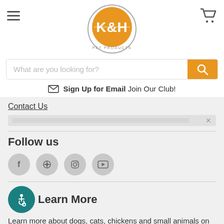[Figure (logo): K&H Pet Products logo — orange circle with K&H text, grey ring with PET PRODUCTS text]
[Figure (other): Search bar with placeholder 'What are you looking for?' and orange search button]
Sign Up for Email Join Our Club!
Contact Us
Follow us
[Figure (illustration): Social media icons: Facebook, Pinterest, Instagram, YouTube in grey circles]
Learn More
Learn more about dogs, cats, chickens and small animals on our blog